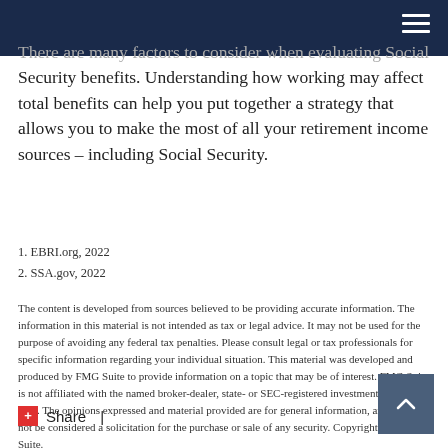There are many factors to consider when evaluating Social Security benefits. Understanding how working may affect total benefits can help you put together a strategy that allows you to make the most of all your retirement income sources – including Social Security.
1. EBRI.org, 2022
2. SSA.gov, 2022
The content is developed from sources believed to be providing accurate information. The information in this material is not intended as tax or legal advice. It may not be used for the purpose of avoiding any federal tax penalties. Please consult legal or tax professionals for specific information regarding your individual situation. This material was developed and produced by FMG Suite to provide information on a topic that may be of interest. FMG Suite is not affiliated with the named broker-dealer, state- or SEC-registered investment advisory firm. The opinions expressed and material provided are for general information, and should not be considered a solicitation for the purchase or sale of any security. Copyright 2022 FMG Suite.